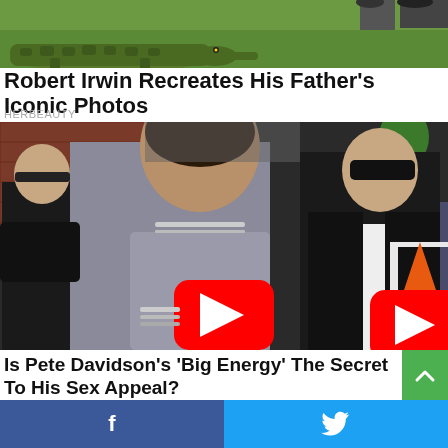[Figure (photo): Top cropped image showing a crocodile on green grass with people feet visible at top right]
Robert Irwin Recreates His Father's Iconic Photos
HERBEAUTY
[Figure (photo): Photo of Kim Kardashian in silver outfit and Pete Davidson in black jacket and sunglasses walking together, with a YouTube play button overlay in the center]
Is Pete Davidson's 'Big Energy' The Secret To His Sex Appeal?
[Figure (other): Social sharing bar with Facebook and Twitter buttons at the bottom]